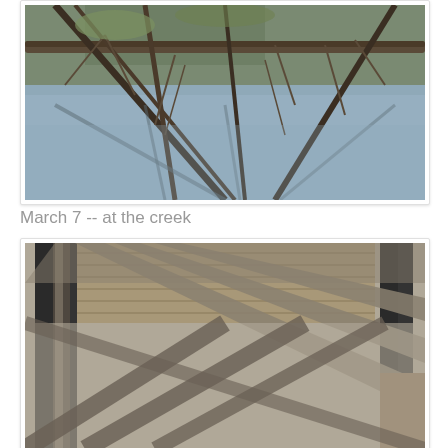[Figure (photo): Photograph of bare winter tree branches over a creek with water reflecting the trees, viewed from above. Taken at a creek on March 7.]
March 7 -- at the creek
[Figure (photo): Photograph of a wooden boardwalk or bridge with dark metal railings casting dramatic shadow patterns on a concrete surface below. Strong geometric shadows from railing bars cross diagonally.]